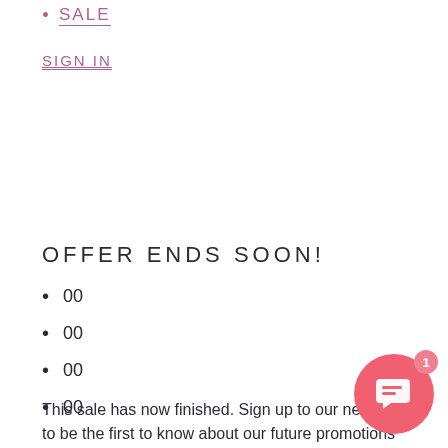SALE
SIGN IN
OFFER ENDS SOON!
00
00
00
00
This sale has now finished. Sign up to our newsletter to be the first to know about our future promotions
[Figure (illustration): Pink circular chat/support button with a speech bubble icon and a badge showing the number 1]